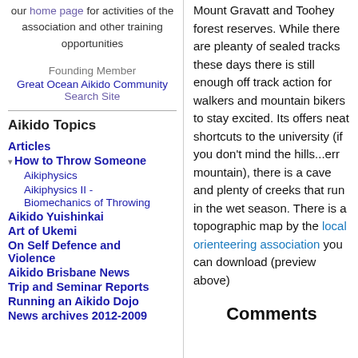our home page for activities of the association and other training opportunities
Founding Member
Great Ocean Aikido Community
Search Site
Aikido Topics
Articles
How to Throw Someone
Aikiphysics
Aikiphysics II - Biomechanics of Throwing
Aikido Yuishinkai
Art of Ukemi
On Self Defence and Violence
Aikido Brisbane News
Trip and Seminar Reports
Running an Aikido Dojo
News archives 2012-2009
Mount Gravatt and Toohey forest reserves. While there are pleanty of sealed tracks these days there is still enough off track action for walkers and mountain bikers to stay excited. Its offers neat shortcuts to the university (if you don't mind the hills...err mountain), there is a cave and plenty of creeks that run in the wet season. There is a topographic map by the local orienteering association you can download (preview above)
Comments